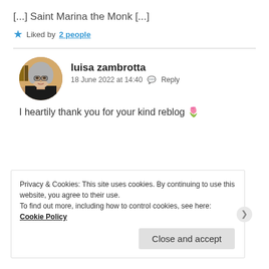[...] Saint Marina the Monk [...]
★ Liked by 2 people
luisa zambrotta
18 June 2022 at 14:40  Reply
I heartily thank you for your kind reblog 🌷
Privacy & Cookies: This site uses cookies. By continuing to use this website, you agree to their use.
To find out more, including how to control cookies, see here: Cookie Policy
Close and accept